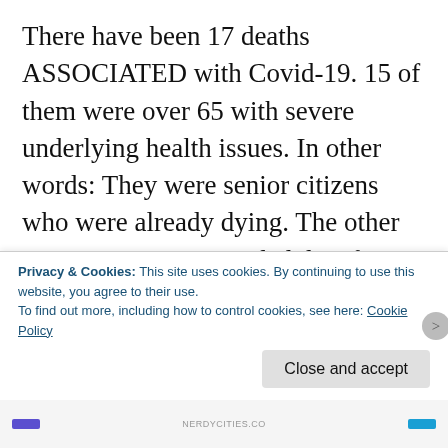There have been 17 deaths ASSOCIATED with Covid-19. 15 of them were over 65 with severe underlying health issues. In other words: They were senior citizens who were already dying. The other 2? We were not provided data for. It is likely that at least one, if not both of them were ALSO already dying of some more serious disease (heart disease, diabetes, stroke, Alzheimer’s, pneumonia…. the official reports only list “serious underlying health issues”). It is not likely that the 2 fatalities we were
Privacy & Cookies: This site uses cookies. By continuing to use this website, you agree to their use.
To find out more, including how to control cookies, see here: Cookie Policy
Close and accept